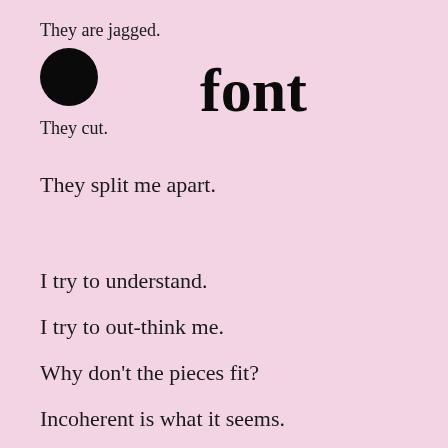They are jagged.
[Figure (illustration): A large black filled circle]
font
They cut.
They split me apart.
I try to understand.
I try to out-think me.
Why don't the pieces fit?
Incoherent is what it seems.